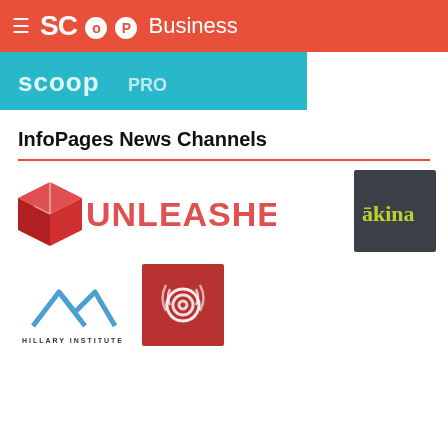SCOOP Business
[Figure (logo): Scoop Pro banner logo on teal/cyan background]
InfoPages News Channels
[Figure (logo): Unleashed logo — red 3D box icon with UNLEASHED text in red]
[Figure (logo): Akina logo — yellow-green text 'akina' on dark charcoal background]
[Figure (logo): Hillary Institute logo — blue mountain/chevron icon with HILLARY INSTITUTE text]
[Figure (logo): Spiral/swirl logo — white spiral on dark red square background]